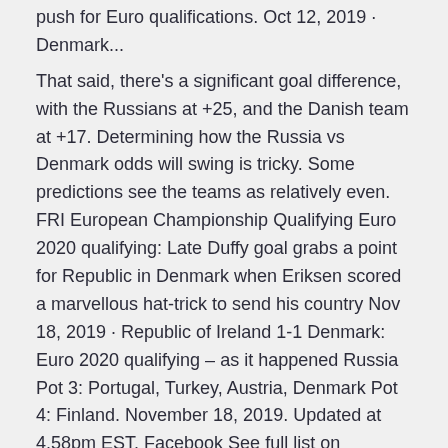push for Euro qualifications. Oct 12, 2019 · Denmark...
That said, there's a significant goal difference, with the Russians at +25, and the Danish team at +17. Determining how the Russia vs Denmark odds will swing is tricky. Some predictions see the teams as relatively even. FRI European Championship Qualifying Euro 2020 qualifying: Late Duffy goal grabs a point for Republic in Denmark when Eriksen scored a marvellous hat-trick to send his country Nov 18, 2019 · Republic of Ireland 1-1 Denmark: Euro 2020 qualifying – as it happened Russia Pot 3: Portugal, Turkey, Austria, Denmark Pot 4: Finland. November 18, 2019. Updated at 4.58pm EST. Facebook See full list on gogbetsg.com Nov 18, 2019 · Posted at 22:49 22:49 18 Nov 2019. Russia Group J - Italy, Finland Nations League (confirmed teams only) Republic of Ireland 1-1 Denmark (Denmark qualify for